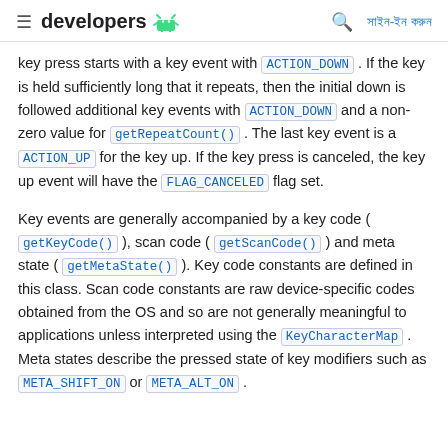≡ developers 🤖  🔍 সাইন-ইন করুন
key press starts with a key event with ACTION_DOWN . If the key is held sufficiently long that it repeats, then the initial down is followed additional key events with ACTION_DOWN and a non-zero value for getRepeatCount() . The last key event is a ACTION_UP for the key up. If the key press is canceled, the key up event will have the FLAG_CANCELED flag set.
Key events are generally accompanied by a key code ( getKeyCode() ), scan code ( getScanCode() ) and meta state ( getMetaState() ). Key code constants are defined in this class. Scan code constants are raw device-specific codes obtained from the OS and so are not generally meaningful to applications unless interpreted using the KeyCharacterMap . Meta states describe the pressed state of key modifiers such as META_SHIFT_ON or META_ALT_ON .